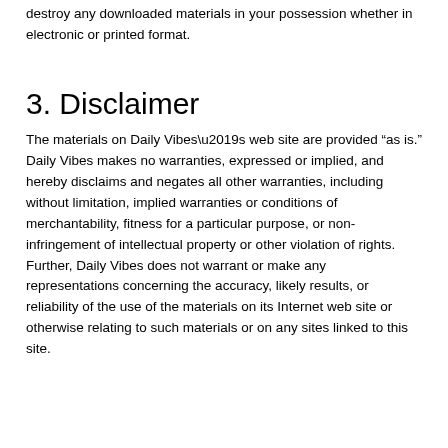destroy any downloaded materials in your possession whether in electronic or printed format.
3. Disclaimer
The materials on Daily Vibes’s web site are provided “as is.” Daily Vibes makes no warranties, expressed or implied, and hereby disclaims and negates all other warranties, including without limitation, implied warranties or conditions of merchantability, fitness for a particular purpose, or non-infringement of intellectual property or other violation of rights. Further, Daily Vibes does not warrant or make any representations concerning the accuracy, likely results, or reliability of the use of the materials on its Internet web site or otherwise relating to such materials or on any sites linked to this site.